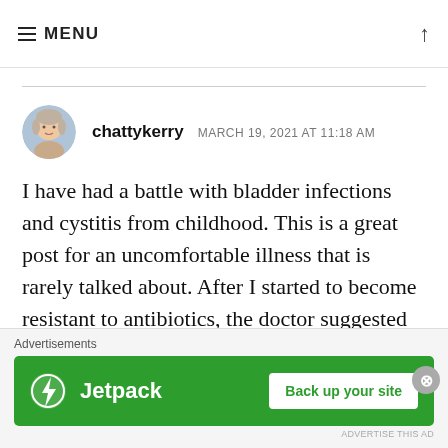MENU
chattykerry  MARCH 19, 2021 AT 11:18 AM

I have had a battle with bladder infections and cystitis from childhood. This is a great post for an uncomfortable illness that is rarely talked about. After I started to become resistant to antibiotics, the doctor suggested that I stop having sex
[Figure (other): Advertisement banner: Jetpack logo with text 'Jetpack' and a 'Back up your site' button on a green background]